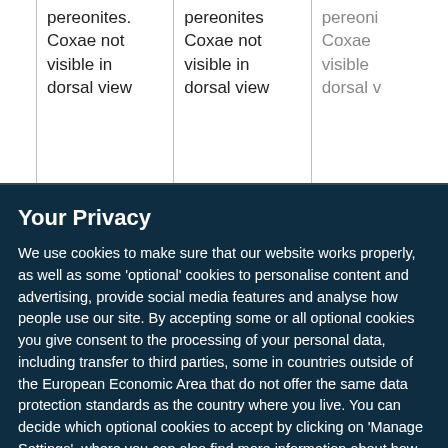|  | pereonites. Coxae not visible in dorsal view | pereonites Coxae not visible in dorsal view | pereon Coxae visible i dorsal v |
Your Privacy
We use cookies to make sure that our website works properly, as well as some 'optional' cookies to personalise content and advertising, provide social media features and analyse how people use our site. By accepting some or all optional cookies you give consent to the processing of your personal data, including transfer to third parties, some in countries outside of the European Economic Area that do not offer the same data protection standards as the country where you live. You can decide which optional cookies to accept by clicking on 'Manage Settings', where you can also find more information about how your personal data is processed. Further information can be found in our privacy policy.
Accept all cookies
Manage preferences